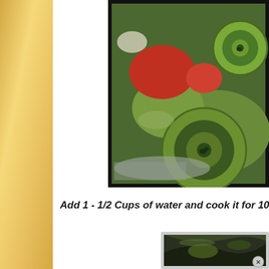[Figure (photo): Close-up photo of sliced green chili peppers (okra or banana peppers cut in rings showing seeds) and red tomatoes in a cooking pot, with a dark border frame]
Add 1 - 1/2 Cups of water and cook it for 10 m
[Figure (photo): Partial photo of food being cooked, dark background, with a close button overlay]